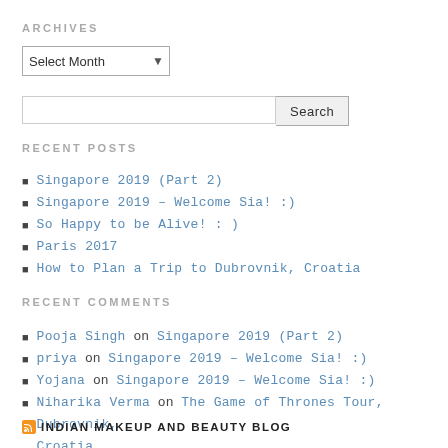ARCHIVES
Select Month (dropdown)
Search (search bar)
RECENT POSTS
Singapore 2019 (Part 2)
Singapore 2019 – Welcome Sia! :)
So Happy to be Alive! : )
Paris 2017
How to Plan a Trip to Dubrovnik, Croatia
RECENT COMMENTS
Pooja Singh on Singapore 2019 (Part 2)
priya on Singapore 2019 – Welcome Sia! :)
Yojana on Singapore 2019 – Welcome Sia! :)
Niharika Verma on The Game of Thrones Tour, Dubrovnik, Croatia
Renuka on Singapore 2019 – Welcome Sia! :)
INDIAN MAKEUP AND BEAUTY BLOG